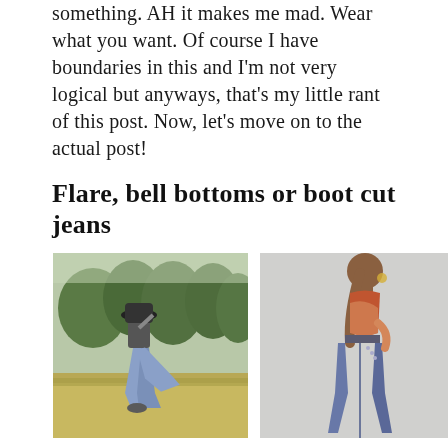something. AH it makes me mad. Wear what you want. Of course I have boundaries in this and I'm not very logical but anyways, that's my little rant of this post. Now, let's move on to the actual post!
Flare, bell bottoms or boot cut jeans
[Figure (photo): Woman wearing flare jeans outdoors in a field with trees in the background, holding a hat]
[Figure (photo): Woman wearing flare jeans in a studio, shown from behind/side, wearing an orange backless top]